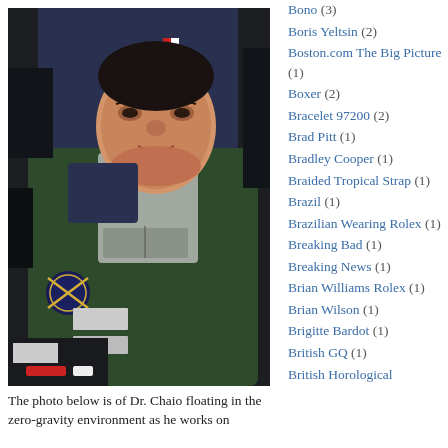[Figure (photo): Two astronauts inside a space station. The foreground astronaut is wearing a dark green flight suit with a patch on the sleeve and a grey chest panel. The background astronaut wears a dark blue ESA-patched suit. They are surrounded by equipment inside the zero-gravity environment.]
The photo below is of Dr. Chaio floating in the zero-gravity environment as he works on
Bono (3)
Boris Yeltsin (2)
Boston.com The Big Picture (1)
Boxer (2)
Bracelet 97200 (2)
Brad Pitt (1)
Bradley Cooper (1)
Braided Tropical Strap (1)
Brazil (1)
Brazilian Wearing Rolex (1)
Breaking Bad (1)
Breaking News (1)
Brian Williams Rolex (1)
Brian Wilson (1)
Brigitte Bardot (1)
British GQ (1)
British Horological